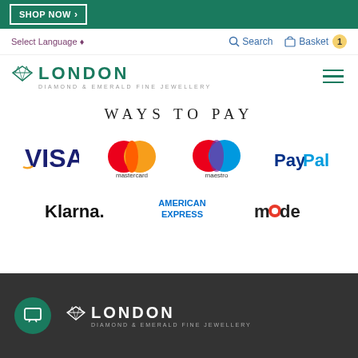SHOP NOW
Select Language ♦
Search
Basket 1
[Figure (logo): London Diamond & Emerald Fine Jewellery logo with diamond icon]
WAYS TO PAY
[Figure (logo): VISA logo]
[Figure (logo): Mastercard logo]
[Figure (logo): Maestro logo]
[Figure (logo): PayPal logo]
[Figure (logo): Klarna logo]
[Figure (logo): American Express logo]
[Figure (logo): Mode logo]
London Diamond & Emerald Fine Jewellery footer with chat button